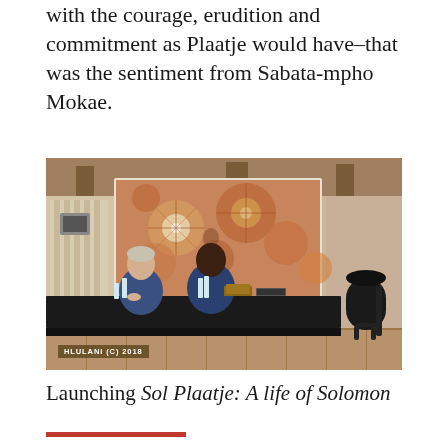...teaching and developing African languages with the courage, erudition and commitment as Plaatje would have–that was the sentiment from Sabata-mpho Mokae.
[Figure (photo): Two people seated at a conference table in a hotel room. Behind them is a projection screen showing colourful artwork. A copyright watermark reads HLULANI (C) 2018.]
HLULANI (C) 2018
Launching Sol Plaatje: A life of Solomon